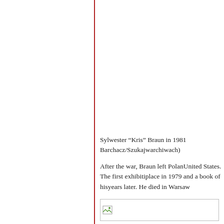Sylwester “Kris” Braun in 1981 Barchacz/Szukajwarchiwach)
After the war, Braun left Poland United States. The first exhibiti place in 1979 and a book of his years later. He died in Warsaw
[Figure (photo): Broken image placeholder at the bottom of the content area]